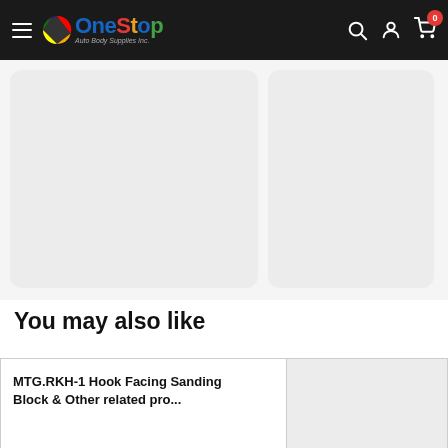[Figure (screenshot): OneStop Auto Body Supplies Inc. navigation bar with hamburger menu, logo, search icon, account icon, and cart icon with 0 badge]
[Figure (photo): Two product image placeholder panels side by side with light grey background and rounded corners]
You may also like
MTG.RKH-1 Hook Facing Sanding Block & Other related products